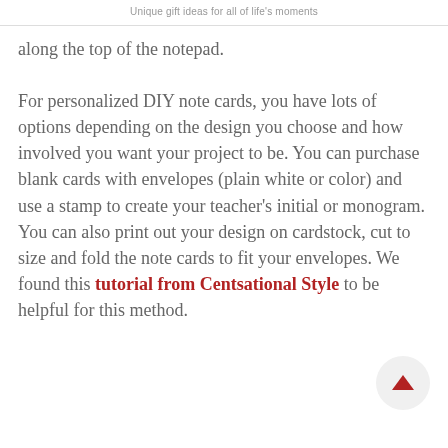Unique gift ideas for all of life's moments
along the top of the notepad.

For personalized DIY note cards, you have lots of options depending on the design you choose and how involved you want your project to be. You can purchase blank cards with envelopes (plain white or color) and use a stamp to create your teacher's initial or monogram. You can also print out your design on cardstock, cut to size and fold the note cards to fit your envelopes. We found this tutorial from Centsational Style to be helpful for this method.